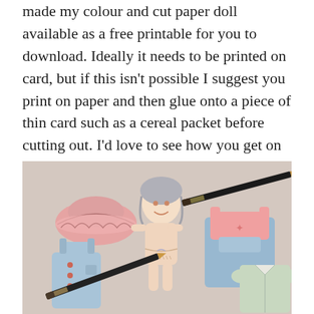made my colour and cut paper doll available as a free printable for you to download. Ideally it needs to be printed on card, but if this isn't possible I suggest you print on paper and then glue onto a piece of thin card such as a cereal packet before cutting out. I'd love to see how you get on so please tag me in your photos on social media (Instagram @polly_had_a_dolly).
[Figure (photo): Photo of a hand-drawn and coloured paper doll lying on a beige/taupe surface surrounded by cut-out clothing items (a pink hat, blue dungarees, a pink top with dungarees, and a green/white top), with two black pencils placed diagonally across the image.]